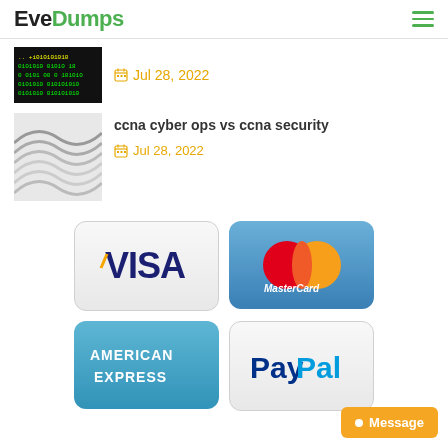EveDumps
[Figure (screenshot): Thumbnail of binary/code matrix image]
Jul 28, 2022
[Figure (photo): Thumbnail showing abstract wavy lines]
ccna cyber ops vs ccna security
Jul 28, 2022
[Figure (logo): VISA payment logo]
[Figure (logo): MasterCard payment logo]
[Figure (logo): American Express payment logo]
[Figure (logo): PayPal payment logo]
Message